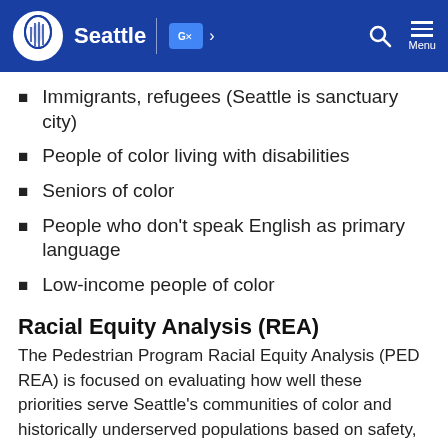Seattle
Immigrants, refugees (Seattle is sanctuary city)
People of color living with disabilities
Seniors of color
People who don't speak English as primary language
Low-income people of color
Racial Equity Analysis (REA)
The Pedestrian Program Racial Equity Analysis (PED REA) is focused on evaluating how well these priorities serve Seattle's communities of color and historically underserved populations based on safety, health, and